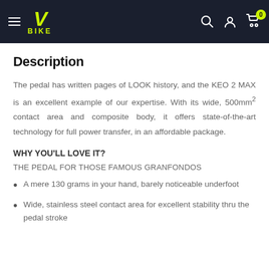VBIKE - navigation header with logo, hamburger menu, search, account, and cart icons
Description
The pedal has written pages of LOOK history, and the KEO 2 MAX is an excellent example of our expertise. With its wide, 500mm² contact area and composite body, it offers state-of-the-art technology for full power transfer, in an affordable package.
WHY YOU'LL LOVE IT?
THE PEDAL FOR THOSE FAMOUS GRANFONDOS
A mere 130 grams in your hand, barely noticeable underfoot
Wide, stainless steel contact area for excellent stability thru the pedal stroke